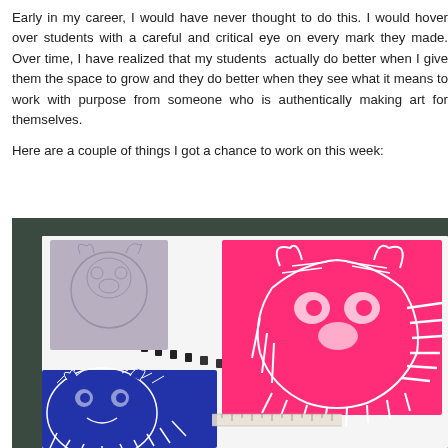Early in my career, I would have never thought to do this. I would hover over students with a careful and critical eye on every mark they made. Over time, I have realized that my students actually do better when I give them the space to grow and they do better when they see what it means to work with purpose from someone who is authentically making art for themselves.
Here are a couple of things I got a chance to work on this week:
[Figure (photo): A photograph showing linocut/block print artworks on a white sketchbook or paper. On the left is a grey/pencil carved block with a bear face design. In the center-right is a bright pink/magenta linocut print of a bear face with detailed lines. In the lower left corner is a dark blue/purple linocut print of a bear. The items are arranged on a dark grey-green surface.]